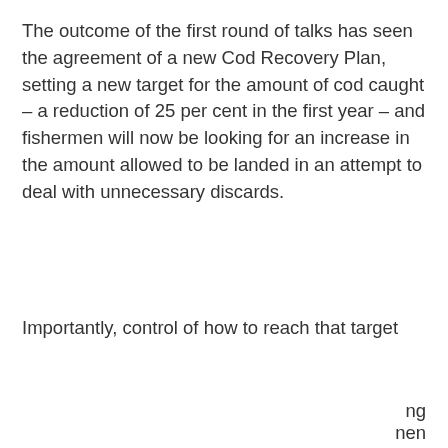The outcome of the first round of talks has seen the agreement of a new Cod Recovery Plan, setting a new target for the amount of cod caught – a reduction of 25 per cent in the first year – and fishermen will now be looking for an increase in the amount allowed to be landed in an attempt to deal with unnecessary discards.
Importantly, control of how to reach that target
[Figure (screenshot): Cookie consent banner overlay with blue background. Text reads: 'This website uses cookies to ensure you get the best experience on our website.' with a 'Learn more' underlined link, and a white 'Got it!' button with underlined bold text.]